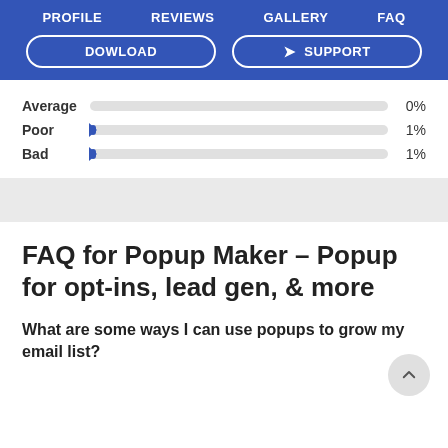PROFILE   REVIEWS   GALLERY   FAQ
DOWLOAD   SUPPORT
[Figure (bar-chart): Rating distribution]
FAQ for Popup Maker – Popup for opt-ins, lead gen, & more
What are some ways I can use popups to grow my email list?